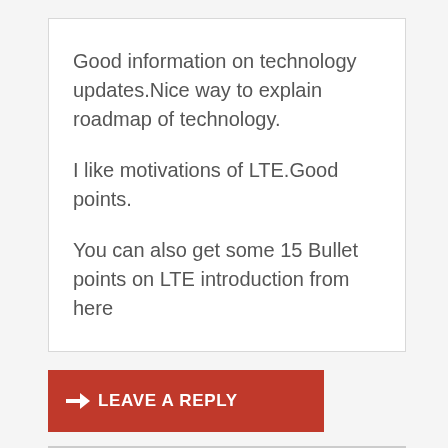Good information on technology updates.Nice way to explain roadmap of technology.
I like motivations of LTE.Good points.
You can also get some 15 Bullet points on LTE introduction from here
LEAVE A REPLY